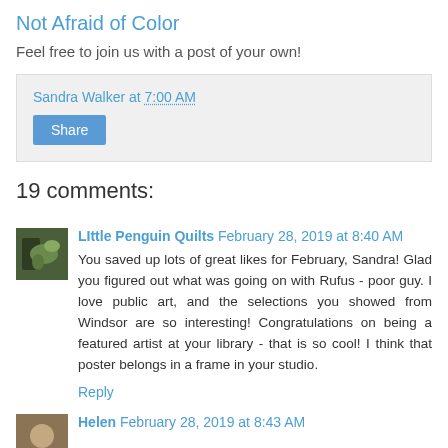Not Afraid of Color
Feel free to join us with a post of your own!
Sandra Walker at 7:00 AM
Share
19 comments:
Little Penguin Quilts February 28, 2019 at 8:40 AM
You saved up lots of great likes for February, Sandra! Glad you figured out what was going on with Rufus - poor guy. I love public art, and the selections you showed from Windsor are so interesting! Congratulations on being a featured artist at your library - that is so cool! I think that poster belongs in a frame in your studio.
Reply
Helen February 28, 2019 at 8:43 AM